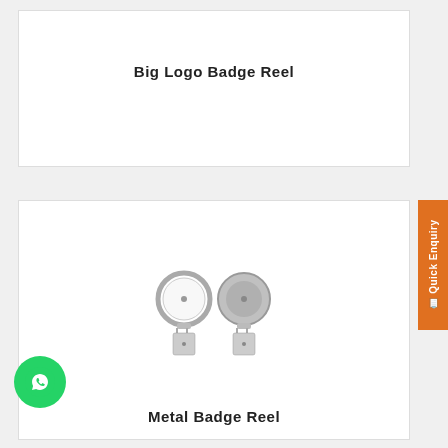Big Logo Badge Reel
[Figure (photo): Two metal badge reels with clips — one showing the front face (circular chrome reel with white surface) and one showing the back, both with metal belt clips attached below.]
Metal Badge Reel